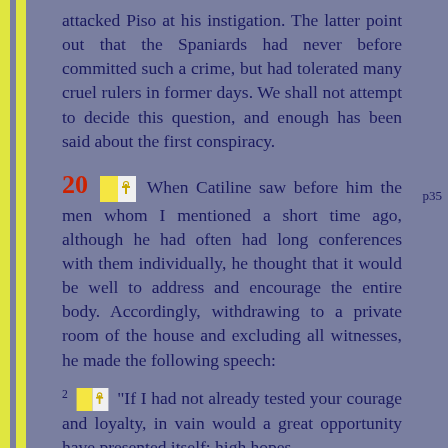attacked Piso at his instigation. The latter point out that the Spaniards had never before committed such a crime, but had tolerated many cruel rulers in former days. We shall not attempt to decide this question, and enough has been said about the first conspiracy.
20 When Catiline saw before him the men whom I mentioned a short time ago, although he had often had long conferences with them individually, he thought that it would be well to address and encourage the entire body. Accordingly, withdrawing to a private room of the house and excluding all witnesses, he made the following speech:
2 "If I had not already tested your courage and loyalty, in vain would a great opportunity have presented itself; high hopes...
p35